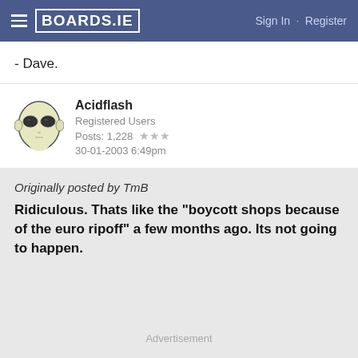BOARDS.IE  Sign In · Register
- Dave.
Acidflash
Registered Users
Posts: 1,228 ★★★
30-01-2003 6:49pm
Originally posted by TmB
Ridiculous. Thats like the "boycott shops because of the euro ripoff" a few months ago. Its not going to happen.
Advertisement